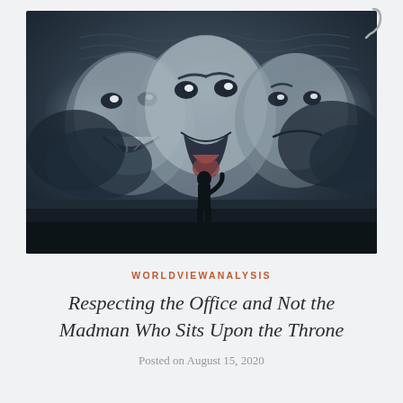[Figure (illustration): Dark surrealist painting showing three large theatrical mask-like faces with exaggerated expressions (laughing, screaming, sorrowful) looming in a cloudy sky, with a small silhouette of a person standing in the foreground looking up at them. A metal hook or pin is visible in the upper right corner of the image frame.]
WORLDVIEWANALYSIS
Respecting the Office and Not the Madman Who Sits Upon the Throne
Posted on August 15, 2020